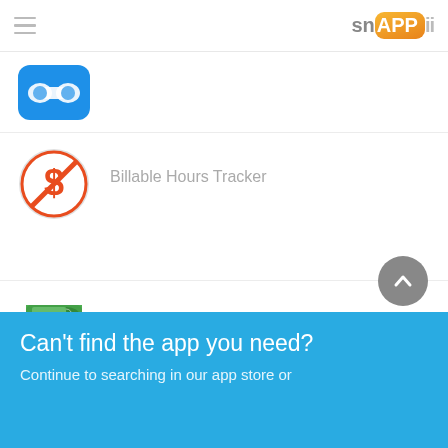snappii logo and hamburger menu
[Figure (logo): Partially visible app icon - blue background with binoculars symbol]
[Figure (logo): Billable Hours Tracker app icon - orange dollar sign circle with ban symbol]
Billable Hours Tracker
[Figure (logo): Invoice Assistant app icon - green folded invoice document with table]
Invoice Assistant
Can't find the app you need?
Continue to searching in our app store or